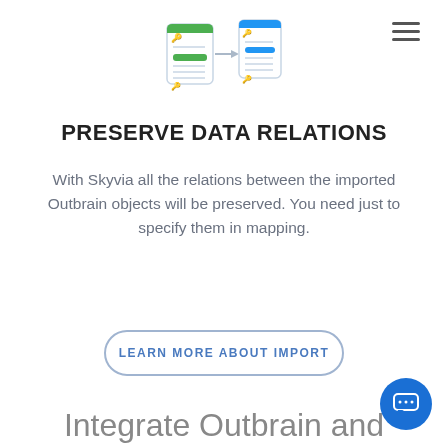[Figure (illustration): Two document/database cards with key icons connected by an arrow, left card has green highlights, right card has blue highlights, representing data relation mapping]
PRESERVE DATA RELATIONS
With Skyvia all the relations between the imported Outbrain objects will be preserved. You need just to specify them in mapping.
LEARN MORE ABOUT IMPORT
Integrate Outbrain and